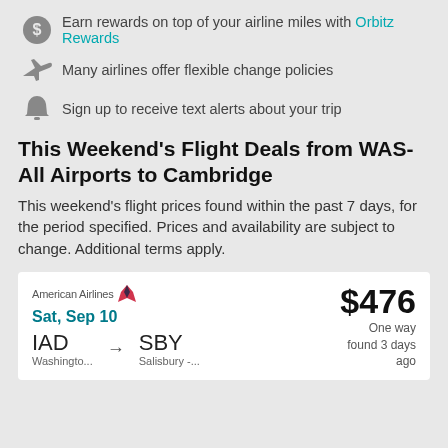Earn rewards on top of your airline miles with Orbitz Rewards
Many airlines offer flexible change policies
Sign up to receive text alerts about your trip
This Weekend's Flight Deals from WAS-All Airports to Cambridge
This weekend's flight prices found within the past 7 days, for the period specified. Prices and availability are subject to change. Additional terms apply.
| Airline | Date | Route | Price | Type | Found |
| --- | --- | --- | --- | --- | --- |
| American Airlines | Sat, Sep 10 | IAD Washington... → SBY Salisbury -... | $476 | One way | found 3 days ago |